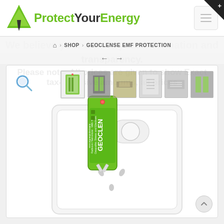[Figure (logo): ProtectYourEnergy logo with green pyramid icon and green/black text]
ProtectYourEnergy
⌂ > SHOP > GEOCLENSE EMF PROTECTION
[Figure (screenshot): Product page screenshot showing a Geoclense EMF protection device plugged into an Australian power outlet, with thumbnail images of the product in the top right of the product image area]